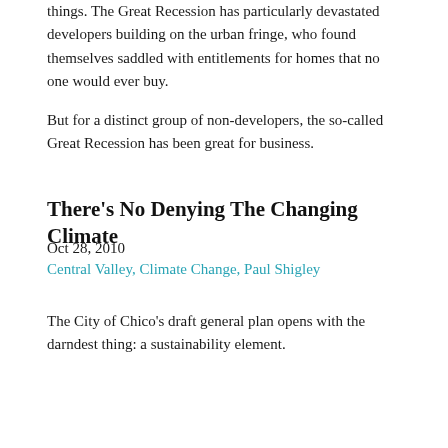things. The Great Recession has particularly devastated developers building on the urban fringe, who found themselves saddled with entitlements for homes that no one would ever buy.
But for a distinct group of non-developers, the so-called Great Recession has been great for business.
There's No Denying The Changing Climate
Oct 28, 2010
Central Valley, Climate Change, Paul Shigley
The City of Chico's draft general plan opens with the darndest thing: a sustainability element.